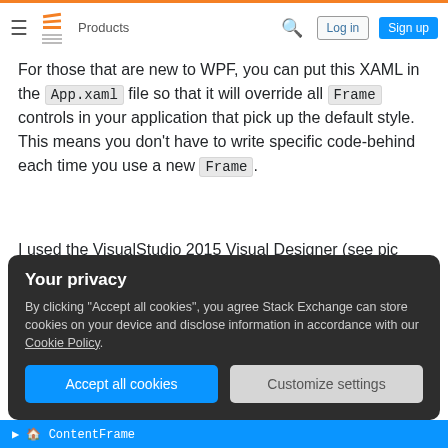≡  Products  🔍  Log in  Sign up
For those that are new to WPF, you can put this XAML in the App.xaml file so that it will override all Frame controls in your application that pick up the default style. This means you don't have to write specific code-behind each time you use a new Frame.
I used the VisualStudio 2015 Visual Designer (see pic below) to create the bulk of the XAML above and then added the DataContext="{TemplateBinding DataContext}" to perform the cascade.
Your privacy
By clicking "Accept all cookies", you agree Stack Exchange can store cookies on your device and disclose information in accordance with our Cookie Policy.
[Accept all cookies] [Customize settings]
▶ 🏠 ContentFrame